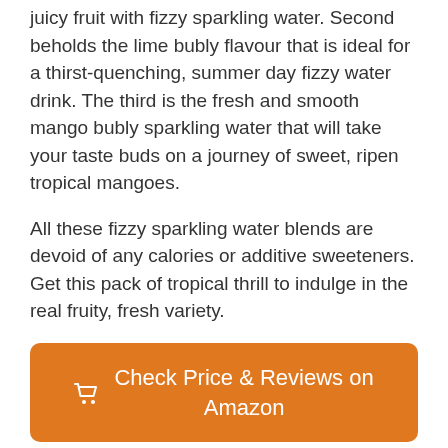juicy fruit with fizzy sparkling water. Second beholds the lime bubly flavour that is ideal for a thirst-quenching, summer day fizzy water drink. The third is the fresh and smooth mango bubly sparkling water that will take your taste buds on a journey of sweet, ripen tropical mangoes.
All these fizzy sparkling water blends are devoid of any calories or additive sweeteners. Get this pack of tropical thrill to indulge in the real fruity, fresh variety.
[Figure (other): Orange rounded button with shopping cart icon and text 'Check Price & Reviews on Amazon']
Passionfruit Bliss Variety Pack